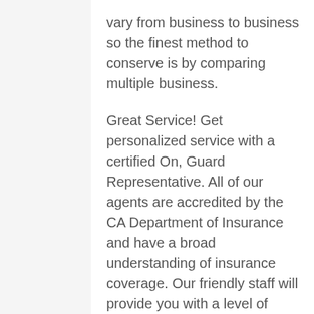vary from business to business so the finest method to conserve is by comparing multiple business.
Great Service! Get personalized service with a certified On, Guard Representative. All of our agents are accredited by the CA Department of Insurance and have a broad understanding of insurance coverage. Our friendly staff will provide you with a level of service that we refer to as old fashioned. All changes and service on your policy is proided with a smile at no charge to you.
Car Owner Insurance coverage is